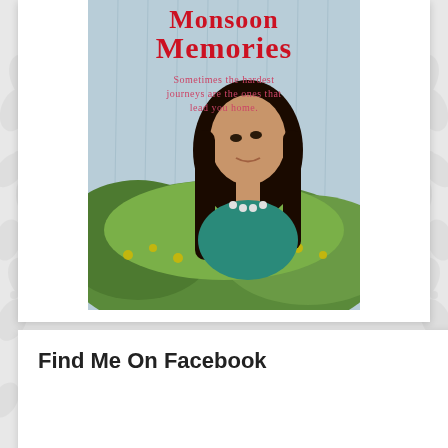[Figure (illustration): Book cover for 'Monsoon Memories' showing a young girl with long dark hair looking upward, standing in front of a rain-streaked window with a green landscape visible behind. The title text reads 'Monsoon Memories' in red, with tagline 'Sometimes the hardest journeys are the ones that lead you home.' in pink.]
Find Me On Facebook